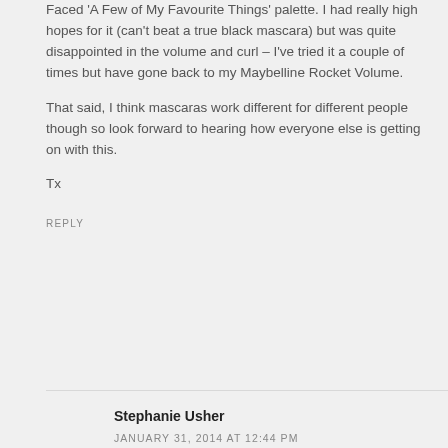Faced 'A Few of My Favourite Things' palette. I had really high hopes for it (can't beat a true black mascara) but was quite disappointed in the volume and curl – I've tried it a couple of times but have gone back to my Maybelline Rocket Volume.
That said, I think mascaras work different for different people though so look forward to hearing how everyone else is getting on with this.
Tx
REPLY
Stephanie Usher
JANUARY 31, 2014 AT 12:44 PM